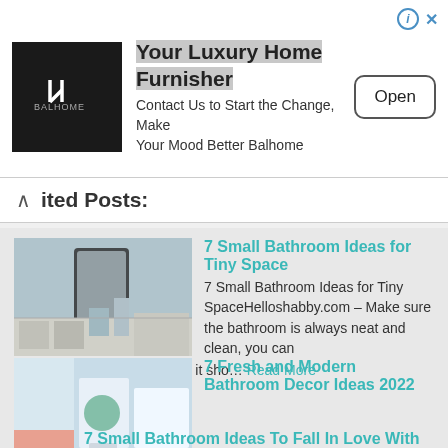[Figure (infographic): Advertisement banner for Balhome luxury home furnisher with logo, tagline, and Open button]
Related Posts:
[Figure (photo): Small bathroom with tiled floor, glass shower door]
7 Small Bathroom Ideas for Tiny Space 7 Small Bathroom Ideas for Tiny SpaceHelloshabby.com – Make sure the bathroom is always neat and clean, you can try in several ways. Although it sho… Read More
[Figure (photo): Modern bathroom with blue accents and plants]
7 Fresh and Modern Bathroom Decor Ideas 2022 Helloshabby.com - Bathroom is a part of home that can help you to have privacy and make comfy your life. So, it can make you have decorated nicely fo… Read More
[Figure (photo): Bathroom thumbnail for third post]
7 Small Bathroom Ideas To Fall In Love With